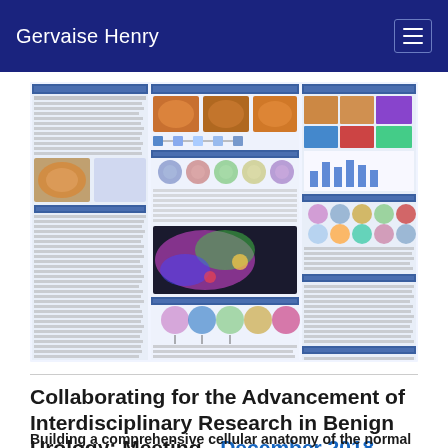Gervaise Henry
[Figure (other): Thumbnail image of a scientific research poster about cellular anatomy of the prostate, containing multiple panels with microscopy images, diagrams, charts, and text sections organized in a multi-column layout with blue section headers.]
Collaborating for the Advancement of Interdisciplinary Research in Benign Urology: Meeting - December 2018
Building a comprehensive cellular anatomy of the normal and diseased human prostateia